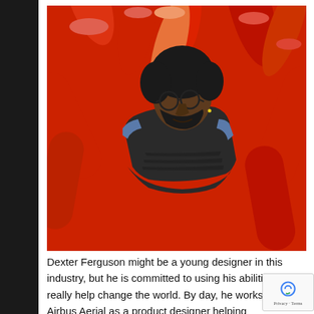[Figure (photo): Portrait photo of Dexter Ferguson, a young Black man with a beard and round glasses, wearing a denim jacket over a striped shirt, posed against a background of large red cylindrical foam tubes/pipes]
Dexter Ferguson might be a young designer in this industry, but he is committed to using his abilities to really help change the world. By day, he works at Airbus Aerial as a product designer, helping insurance companies make decisions, damages and risks. When work is over Dexter...